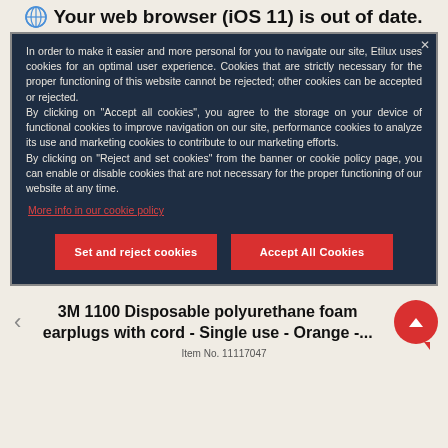Your web browser (iOS 11) is out of date.
In order to make it easier and more personal for you to navigate our site, Etilux uses cookies for an optimal user experience. Cookies that are strictly necessary for the proper functioning of this website cannot be rejected; other cookies can be accepted or rejected.
By clicking on "Accept all cookies", you agree to the storage on your device of functional cookies to improve navigation on our site, performance cookies to analyze its use and marketing cookies to contribute to our marketing efforts.
By clicking on "Reject and set cookies" from the banner or cookie policy page, you can enable or disable cookies that are not necessary for the proper functioning of our website at any time.
More info in our cookie policy
Set and reject cookies
Accept All Cookies
3M 1100 Disposable polyurethane foam earplugs with cord - Single use - Orange -...
Item No. 11117047